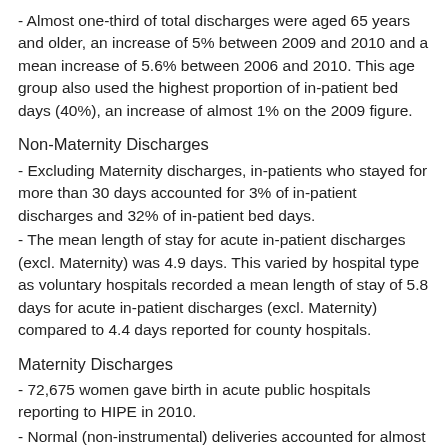- Almost one-third of total discharges were aged 65 years and older, an increase of 5% between 2009 and 2010 and a mean increase of 5.6% between 2006 and 2010. This age group also used the highest proportion of in-patient bed days (40%), an increase of almost 1% on the 2009 figure.
Non-Maternity Discharges
- Excluding Maternity discharges, in-patients who stayed for more than 30 days accounted for 3% of in-patient discharges and 32% of in-patient bed days.
- The mean length of stay for acute in-patient discharges (excl. Maternity) was 4.9 days. This varied by hospital type as voluntary hospitals recorded a mean length of stay of 5.8 days for acute in-patient discharges (excl. Maternity) compared to 4.4 days reported for county hospitals.
Maternity Discharges
- 72,675 women gave birth in acute public hospitals reporting to HIPE in 2010.
- Normal (non-instrumental) deliveries accounted for almost